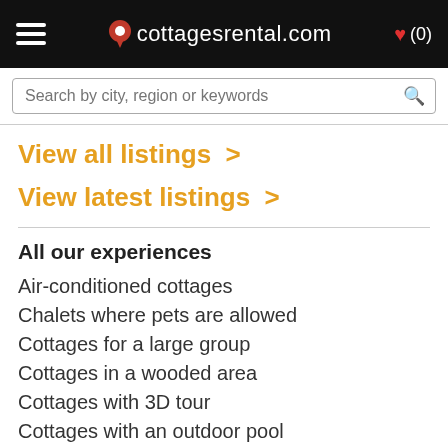cottagesrental.com ♥ (0)
Search by city, region or keywords
View all listings >
View latest listings >
All our experiences
Air-conditioned cottages
Chalets where pets are allowed
Cottages for a large group
Cottages in a wooded area
Cottages with 3D tour
Cottages with an outdoor pool
Cottages with indoor pool
Cottages with sauna